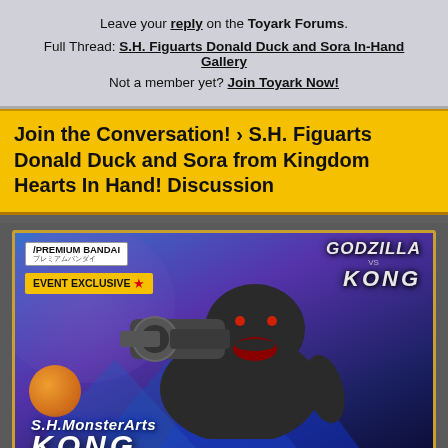Leave your reply on the Toyark Forums.
Full Thread: S.H. Figuarts Donald Duck and Sora In-Hand Gallery
Not a member yet? Join Toyark Now!
Join the Conversation! › S.H. Figuarts Donald Duck and Sora from Kingdom Hearts In Hand! Discussion
[Figure (photo): S.H. MonsterArts Kong figure from Godzilla vs Kong, shown as Premium Bandai Event Exclusive product. Kong is depicted roaring with mechanical arm raised. Text at bottom reads S.H.MonsterArts KONG.]